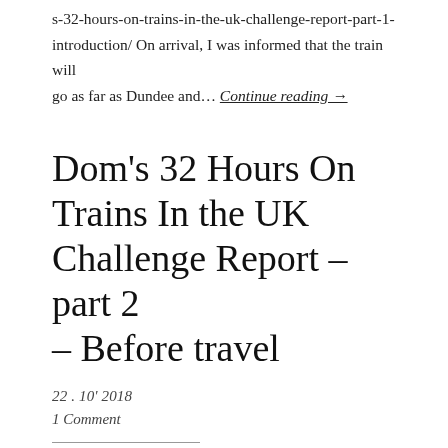s-32-hours-on-trains-in-the-uk-challenge-report-part-1-introduction/ On arrival, I was informed that the train will go as far as Dundee and… Continue reading →
Dom's 32 Hours On Trains In the UK Challenge Report – part 2 – Before travel
22 . 10' 2018
1 Comment
In this part, I will talk about some news about my trip before travel on the day of the start of my journey and...